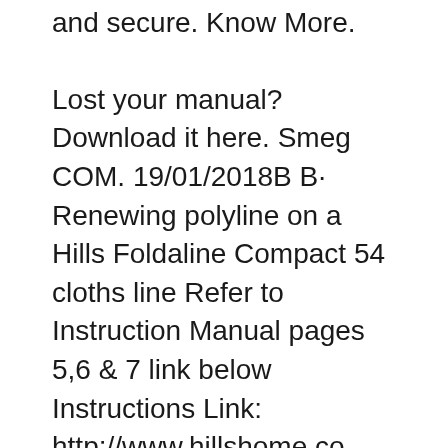and secure. Know More. Lost your manual? Download it here. Smeg COM. 19/01/2018B B· Renewing polyline on a Hills Foldaline Compact 54 cloths line Refer to Instruction Manual pages 5,6 & 7 link below Instructions Link: http://www.hillshome.co..., Clotheslines Single (FD45618)/Double (FD45616) Owner's Manual Foldaline Line Clip Replacement Instructions. What's in The Box. Hills Heritage 4 and 5 Clothes Line Handle. 1 x Handle Assembly 2 x Screws 4.8mm x 16mm 1 x Instruction Manual. Hills Latch Foldaline Traditional Hills Folding Rotary Clothesline FD902442. All Hills Replacement Latch.